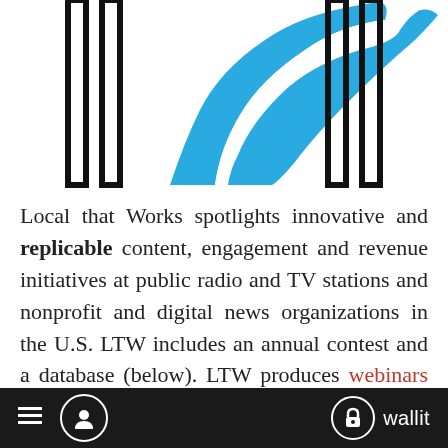[Figure (logo): Local that Works logo: a blue winding road/path shape in the center, flanked by two tall vertical rectangular pillar shapes outlined in black on the left and right sides.]
Local that Works spotlights innovative and replicable content, engagement and revenue initiatives at public radio and TV stations and nonprofit and digital news organizations in the U.S. LTW includes an annual contest and a database (below). LTW produces webinars that offer insights into projects and organizations that are reshaping local
≡  👤  🔒 wallit